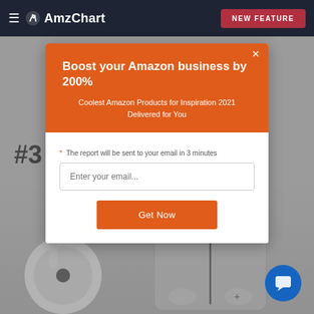AmzChart — NEW FEATURE
#3
[Figure (screenshot): AmzChart website background showing a product ranking page with earbuds/earphones in the lower portion, greyed out behind a modal popup]
[Figure (infographic): Modal popup with orange header reading 'Boost your Amazon business by 200%', subtitle 'Coolest Amazon Products for Inspiration 2021 Delivered for You', email input field, and orange 'Get Now' button. Note text: 'The report will be sent to your email in 3 minutes']